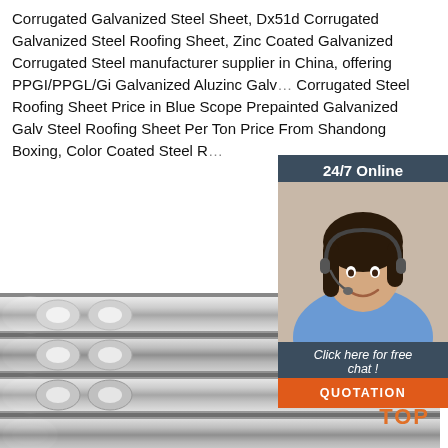Corrugated Galvanized Steel Sheet, Dx51d Corrugated Galvanized Steel Roofing Sheet, Zinc Coated Galvanized Corrugated Steel manufacturer supplier in China, offering PPGI/PPGL/Gi Galvanized Aluzinc Galv Corrugated Steel Roofing Sheet Price in Blue Scope Prepainted Galvanized Galv Steel Roofing Sheet Per Ton Price From Shandong Boxing, Color Coated Steel R...
[Figure (photo): Customer service representative (woman with headset) in a 24/7 online chat widget with dark blue-grey background, 'Click here for free chat!' text, and orange QUOTATION button]
Get Price
[Figure (photo): Close-up photo of shiny corrugated steel rods/bars arranged diagonally, silver metallic finish]